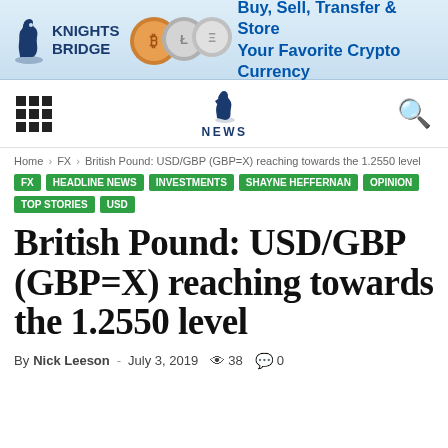[Figure (illustration): Knights Bridge banner advertisement: logo with knight chess piece icon, coin images, and text 'Buy, Sell, Transfer & Store Your Favorite Crypto Currency' in blue on light blue background]
NEWS (navigation bar with grid icon, news logo, and search icon)
Home > FX > British Pound: USD/GBP (GBP=X) reaching towards the 1.2550 level
FX
HEADLINE NEWS
INVESTMENTS
SHAYNE HEFFERNAN
OPINION
TOP STORIES
USD
British Pound: USD/GBP (GBP=X) reaching towards the 1.2550 level
By Nick Leeson - July 3, 2019  38  0